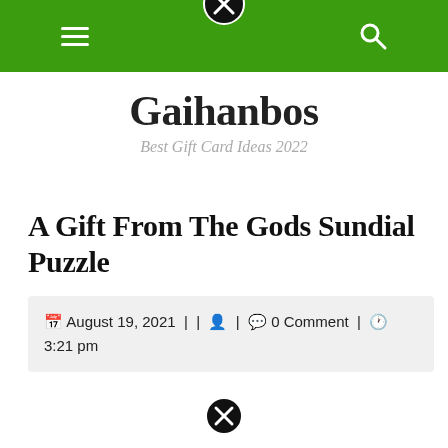Gaihanbos navigation bar with hamburger menu, close button, and search icon
Gaihanbos
Best Gift Card Ideas 2022
A Gift From The Gods Sundial Puzzle
August 19, 2021 | | 0 Comment | 3:21 pm